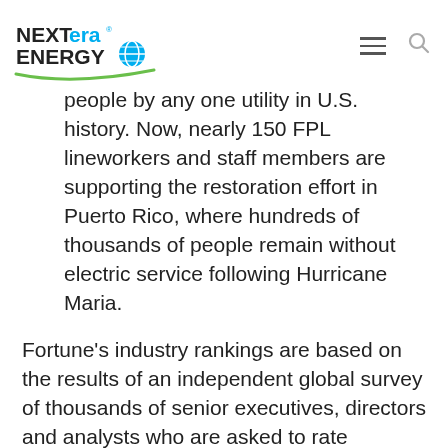NextEra Energy [logo]
people by any one utility in U.S. history. Now, nearly 150 FPL lineworkers and staff members are supporting the restoration effort in Puerto Rico, where hundreds of thousands of people remain without electric service following Hurricane Maria.
Fortune's industry rankings are based on the results of an independent global survey of thousands of senior executives, directors and analysts who are asked to rate companies in their industry based on nine